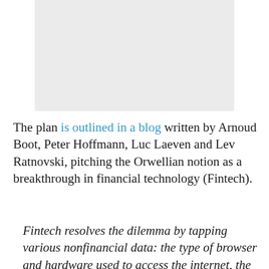[Figure (other): Gray rectangular image placeholder at top of page]
The plan is outlined in a blog written by Arnoud Boot, Peter Hoffmann, Luc Laeven and Lev Ratnovski, pitching the Orwellian notion as a breakthrough in financial technology (Fintech).
Fintech resolves the dilemma by tapping various nonfinancial data: the type of browser and hardware used to access the internet, the history of online searches and purchases